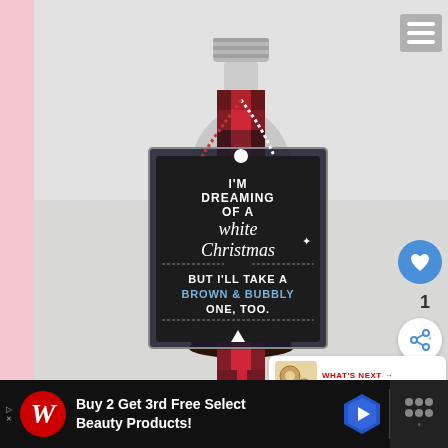[Figure (photo): A small glass soda bottle with a red and black buffalo plaid ribbon/tag attached. The tag reads: I'M DREAMING OF A white Christmas BUT I'LL TAKE A BROWN & BUBBLY ONE, TOO. The bottle is on a light gray background.]
WHAT'S NEXT → DIY Pie Gift Box
[Figure (infographic): Heart icon (like button) in blue circle, number 1, share icon in white circle]
Buy 2 Get 3rd Free Select Beauty Products!
[Figure (logo): Walgreens script W logo in red, Walgreens advertisement banner]